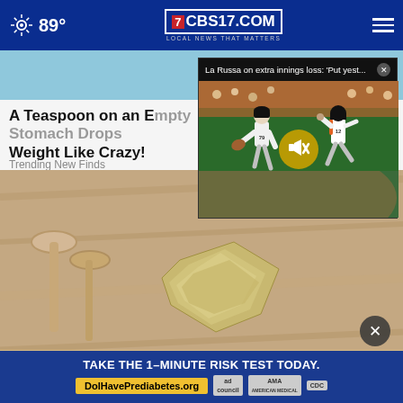89° CBS17.COM LOCAL NEWS THAT MATTERS
A Teaspoon on an Empty Stomach Drops Weight Like Crazy!
Trending New Finds
[Figure (screenshot): Video popup overlay: La Russa on extra innings loss: 'Put yest...' with baseball game footage showing two players (pitcher #79 and batter #12) with mute button overlay]
[Figure (photo): Close-up photo of spoons and crumpled metallic foil on wooden surface]
[Figure (infographic): Advertisement banner: TAKE THE 1-MINUTE RISK TEST TODAY. DolHavePrediabetes.org with ad council, AMA, and CDC logos]